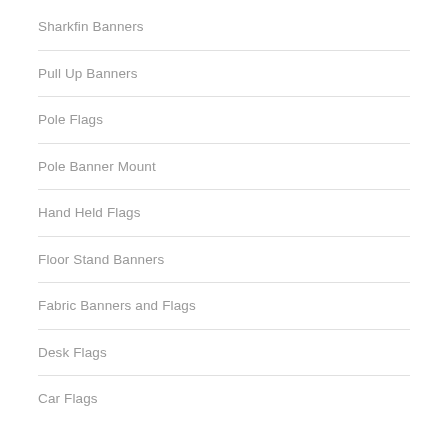Sharkfin Banners
Pull Up Banners
Pole Flags
Pole Banner Mount
Hand Held Flags
Floor Stand Banners
Fabric Banners and Flags
Desk Flags
Car Flags